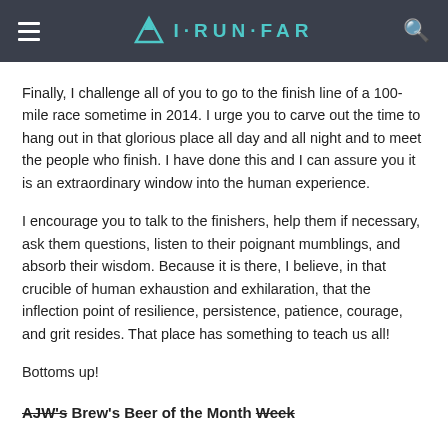I·RUN·FAR
Finally, I challenge all of you to go to the finish line of a 100-mile race sometime in 2014. I urge you to carve out the time to hang out in that glorious place all day and all night and to meet the people who finish. I have done this and I can assure you it is an extraordinary window into the human experience.
I encourage you to talk to the finishers, help them if necessary, ask them questions, listen to their poignant mumblings, and absorb their wisdom. Because it is there, I believe, in that crucible of human exhaustion and exhilaration, that the inflection point of resilience, persistence, patience, courage, and grit resides. That place has something to teach us all!
Bottoms up!
AJW's Brew's Beer of the Month Week